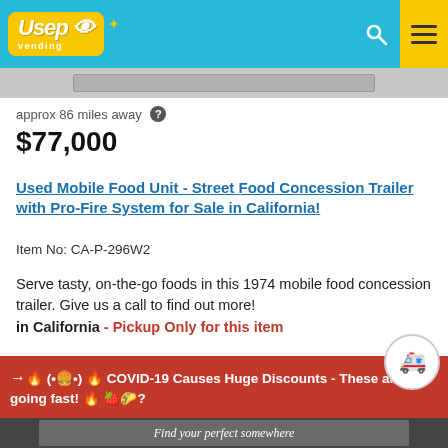Used Vending - header navigation
approx 86 miles away
$77,000
Used Mobile Food Unit - Street Food Concession Trailer with Pro-Fire System for Sale in California!
Item No: CA-P-296W2
Serve tasty, on-the-go foods in this 1974 mobile food concession trailer. Give us a call to find out more! in California - Pickup Only for this item
→🔥 (•🍔•) 🔥 COVID-19 Causes Huge Discounts - These are going fast! 🔥 🍓🌮🍕
[Figure (screenshot): Advertisement banner: Find your perfect somewhere]